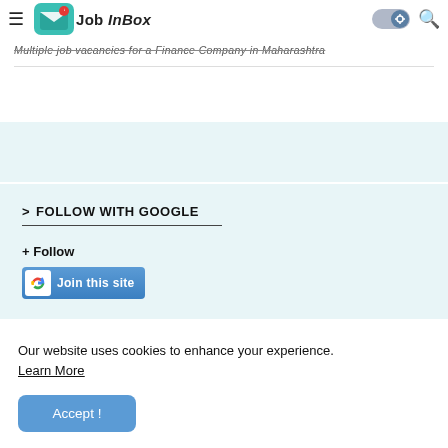JobInBox - Menu, Toggle, Search
Multiple job vacancies for a Finance Company in Maharashtra
> FOLLOW WITH GOOGLE
+ Follow
[Figure (screenshot): Join this site button with Google icon]
Our website uses cookies to enhance your experience. Learn More
Accept !